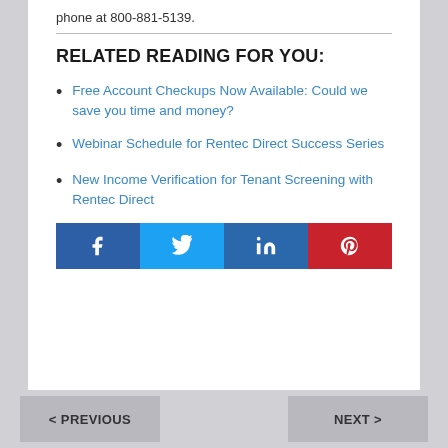phone at 800-881-5139.
RELATED READING FOR YOU:
Free Account Checkups Now Available: Could we save you time and money?
Webinar Schedule for Rentec Direct Success Series
New Income Verification for Tenant Screening with Rentec Direct
[Figure (infographic): Social share buttons: Facebook (blue), Twitter (light blue), LinkedIn (blue), Pinterest (red)]
< PREVIOUS    NEXT >